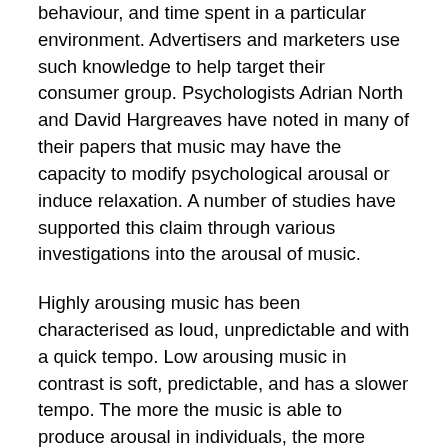behaviour, and time spent in a particular environment. Advertisers and marketers use such knowledge to help target their consumer group. Psychologists Adrian North and David Hargreaves have noted in many of their papers that music may have the capacity to modify psychological arousal or induce relaxation. A number of studies have supported this claim through various investigations into the arousal of music.
Highly arousing music has been characterised as loud, unpredictable and with a quick tempo. Low arousing music in contrast is soft, predictable, and has a slower tempo. The more the music is able to produce arousal in individuals, the more pleasurable it is for them, and the more likely it will be their preference. Musical tempo is another area within the field of music that has generated empirical research. A variety of reports from participants